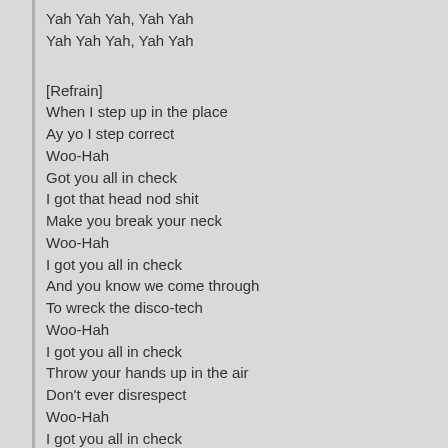Yah Yah Yah, Yah Yah
Yah Yah Yah, Yah Yah
[Refrain]
When I step up in the place
Ay yo I step correct
Woo-Hah
Got you all in check
I got that head nod shit
Make you break your neck
Woo-Hah
I got you all in check
And you know we come through
To wreck the disco-tech
Woo-Hah
I got you all in check
Throw your hands up in the air
Don't ever disrespect
Woo-Hah
I got you all in check
Busta Rhymez up in the place true indeed
Yes I catch wreck and that's word on my seed
I guarantee to give you what you need
One blood everybody like Junior Reid